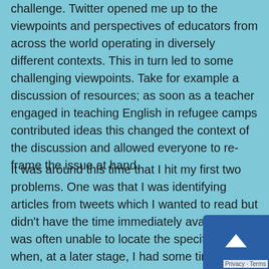challenge. Twitter opened me up to the viewpoints and perspectives of educators from across the world operating in diversely different contexts. This in turn led to some challenging viewpoints. Take for example a discussion of resources; as soon as a teacher engaged in teaching English in refugee camps contributed ideas this changed the context of the discussion and allowed everyone to re-frame the issue at hand.
It was around this time that I hit my first two problems. One was that I was identifying articles from tweets which I wanted to read but didn't have the time immediately available. I was often unable to locate the specific article when, at a later stage, I had some time free. The solution to this was quickly found in Evernote.com and I started pushing all articles whi wanted to read later into Evernote where I could t pick them up and read them at a later date. It also meant